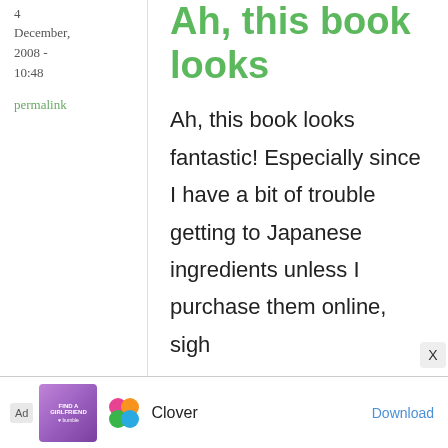4 December, 2008 - 10:48
permalink
Ah, this book looks
Ah, this book looks fantastic! Especially since I have a bit of trouble getting to Japanese ingredients unless I purchase them online, sigh

Eve, USA